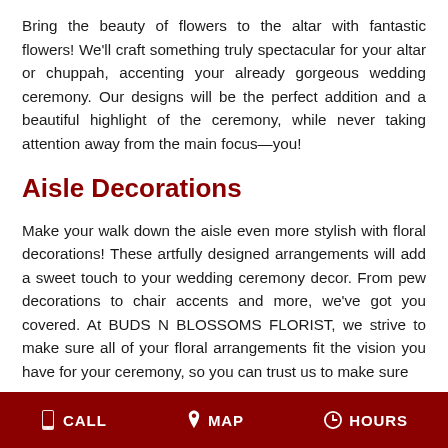Bring the beauty of flowers to the altar with fantastic flowers! We'll craft something truly spectacular for your altar or chuppah, accenting your already gorgeous wedding ceremony. Our designs will be the perfect addition and a beautiful highlight of the ceremony, while never taking attention away from the main focus—you!
Aisle Decorations
Make your walk down the aisle even more stylish with floral decorations! These artfully designed arrangements will add a sweet touch to your wedding ceremony decor. From pew decorations to chair accents and more, we've got you covered. At BUDS N BLOSSOMS FLORIST, we strive to make sure all of your floral arrangements fit the vision you have for your ceremony, so you can trust us to make sure
CALL   MAP   HOURS